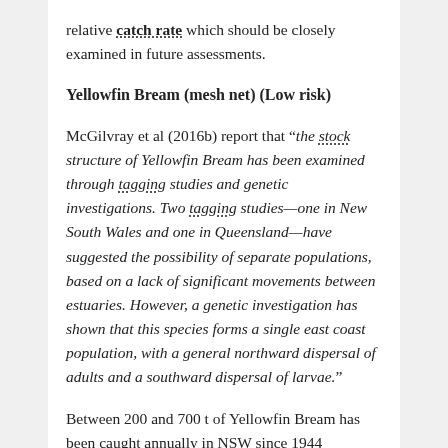relative catch rate which should be closely examined in future assessments.
Yellowfin Bream (mesh net) (Low risk)
McGilvray et al (2016b) report that “the stock structure of Yellowfin Bream has been examined through tagging studies and genetic investigations. Two tagging studies—one in New South Wales and one in Queensland—have suggested the possibility of separate populations, based on a lack of significant movements between estuaries. However, a genetic investigation has shown that this species forms a single east coast population, with a general northward dispersal of adults and a southward dispersal of larvae.”
Between 200 and 700 t of Yellowfin Bream has been caught annually in NSW since 1944 (Stewart, 2015b), accounting for around two